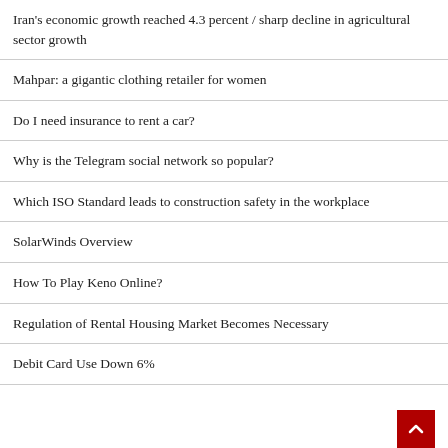Iran's economic growth reached 4.3 percent / sharp decline in agricultural sector growth
Mahpar: a gigantic clothing retailer for women
Do I need insurance to rent a car?
Why is the Telegram social network so popular?
Which ISO Standard leads to construction safety in the workplace
SolarWinds Overview
How To Play Keno Online?
Regulation of Rental Housing Market Becomes Necessary
Debit Card Use Down 6%